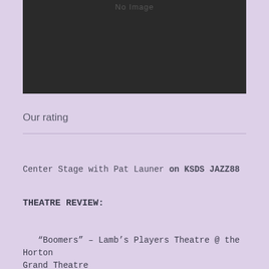[Figure (photo): Dark placeholder image with 'No Image' text shown in dark gray on near-black background]
Our rating
Center Stage with Pat Launer on KSDS JAZZ88
THEATRE REVIEW:
“Boomers” – Lamb’s Players Theatre @ the Horton Grand Theatre